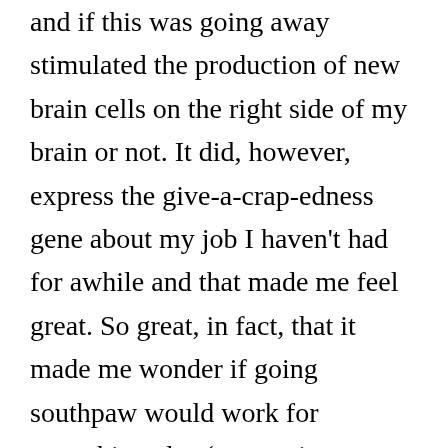and if this was going away stimulated the production of new brain cells on the right side of my brain or not. It did, however, express the give-a-crap-edness gene about my job I haven't had for awhile and that made me feel great. So great, in fact, that it made me wonder if going southpaw would work for something else (see, no issues with curiosity here, Sarge.) So yesterday, I went to the batting cages.